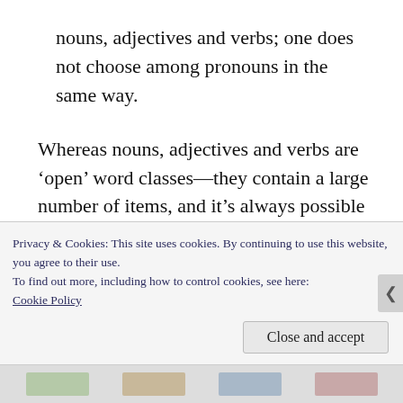nouns, adjectives and verbs; one does not choose among pronouns in the same way.
Whereas nouns, adjectives and verbs are ‘open’ word classes—they contain a large number of items, and it’s always possible to add new ones—pronouns, like articles and prepositions, are a ‘closed’ class, containing a finite set of items which alternate in predictable ways. They aren’t what high school teachers call
Privacy & Cookies: This site uses cookies. By continuing to use this website, you agree to their use.
To find out more, including how to control cookies, see here: Cookie Policy
Close and accept